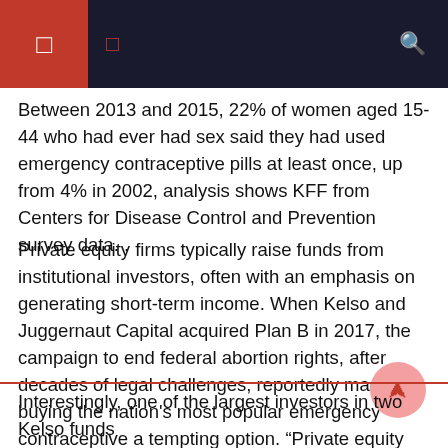Between 2013 and 2015, 22% of women aged 15-44 who had ever had sex said they had used emergency contraceptive pills at least once, up from 4% in 2002, analysis shows KFF from Centers for Disease Control and Prevention survey data. .
Private equity firms typically raise funds from institutional investors, often with an emphasis on generating short-term income. When Kelso and Juggernaut Capital acquired Plan B in 2017, the campaign to end federal abortion rights, after decades of legal challenges, reportedly made buying the nation's most popular emergency contraceptive a tempting option. “Private equity feels a possibility wherever vulnerable people are involved,” said Eileen Appelbaum, co-director of the Center for Economics and Policy Research.
Interestingly, one of the largest investors in two Kelso funds